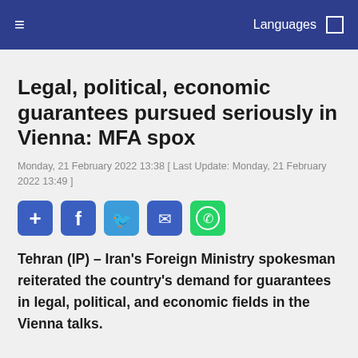≡   Languages  □
Legal, political, economic guarantees pursued seriously in Vienna: MFA spox
Monday, 21 February 2022 13:38 [ Last Update: Monday, 21 February 2022 13:49 ]
[Figure (infographic): Social share buttons: plus, Facebook, Twitter, email, WhatsApp]
Tehran (IP) – Iran's Foreign Ministry spokesman reiterated the country's demand for guarantees in legal, political, and economic fields in the Vienna talks.